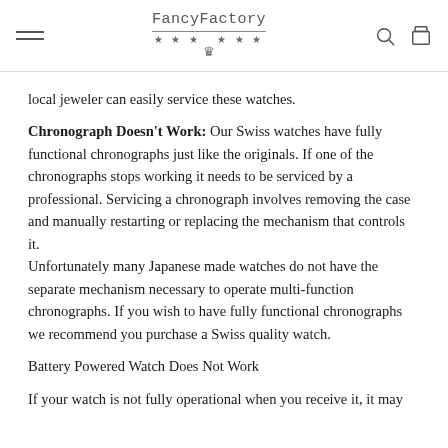FancyFactory
local jeweler can easily service these watches.
Chronograph Doesn’t Work: Our Swiss watches have fully functional chronographs just like the originals. If one of the chronographs stops working it needs to be serviced by a professional. Servicing a chronograph involves removing the case and manually restarting or replacing the mechanism that controls it.
Unfortunately many Japanese made watches do not have the separate mechanism necessary to operate multi-function chronographs. If you wish to have fully functional chronographs we recommend you purchase a Swiss quality watch.
Battery Powered Watch Does Not Work
If your watch is not fully operational when you receive it, it may